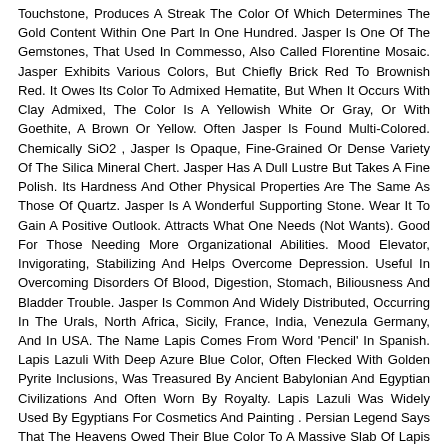Touchstone, Produces A Streak The Color Of Which Determines The Gold Content Within One Part In One Hundred. Jasper Is One Of The Gemstones, That Used In Commesso, Also Called Florentine Mosaic. Jasper Exhibits Various Colors, But Chiefly Brick Red To Brownish Red. It Owes Its Color To Admixed Hematite, But When It Occurs With Clay Admixed, The Color Is A Yellowish White Or Gray, Or With Goethite, A Brown Or Yellow. Often Jasper Is Found Multi-Colored. Chemically SiO2 , Jasper Is Opaque, Fine-Grained Or Dense Variety Of The Silica Mineral Chert. Jasper Has A Dull Lustre But Takes A Fine Polish. Its Hardness And Other Physical Properties Are The Same As Those Of Quartz. Jasper Is A Wonderful Supporting Stone. Wear It To Gain A Positive Outlook. Attracts What One Needs (Not Wants). Good For Those Needing More Organizational Abilities. Mood Elevator, Invigorating, Stabilizing And Helps Overcome Depression. Useful In Overcoming Disorders Of Blood, Digestion, Stomach, Biliousness And Bladder Trouble. Jasper Is Common And Widely Distributed, Occurring In The Urals, North Africa, Sicily, France, India, Venezula Germany, And In USA. The Name Lapis Comes From Word 'Pencil' In Spanish. Lapis Lazuli With Deep Azure Blue Color, Often Flecked With Golden Pyrite Inclusions, Was Treasured By Ancient Babylonian And Egyptian Civilizations And Often Worn By Royalty. Lapis Lazuli Was Widely Used By Egyptians For Cosmetics And Painting . Persian Legend Says That The Heavens Owed Their Blue Color To A Massive Slab Of Lapis Upon Which The Earth Rested. Lapis Lazuli Was Believed To Be A Sacred Stone, Buried With The Dead To Protect And Guide Them In The Afterlife. Lapis Lazuli (Also Called